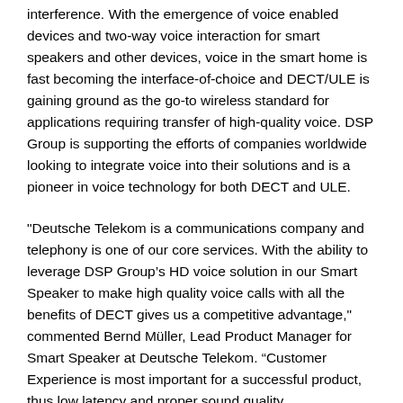interference. With the emergence of voice enabled devices and two-way voice interaction for smart speakers and other devices, voice in the smart home is fast becoming the interface-of-choice and DECT/ULE is gaining ground as the go-to wireless standard for applications requiring transfer of high-quality voice. DSP Group is supporting the efforts of companies worldwide looking to integrate voice into their solutions and is a pioneer in voice technology for both DECT and ULE.
"Deutsche Telekom is a communications company and telephony is one of our core services. With the ability to leverage DSP Group's HD voice solution in our Smart Speaker to make high quality voice calls with all the benefits of DECT gives us a competitive advantage," commented Bernd Müller, Lead Product Manager for Smart Speaker at Deutsche Telekom. “Customer Experience is most important for a successful product, thus low latency and proper sound quality